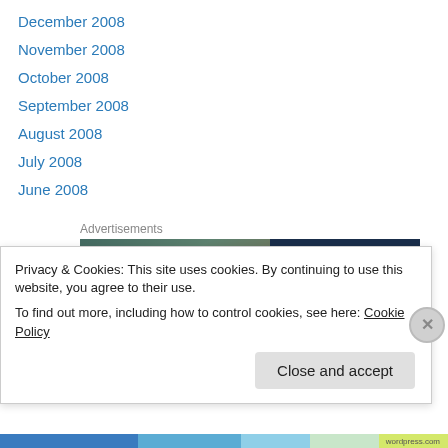December 2008
November 2008
October 2008
September 2008
August 2008
July 2008
June 2008
Advertisements
[Figure (illustration): WordPress advertisement banner with a smiling person on the left and WordPress P logo with WORDPRESS text on dark blue background on the right]
Privacy & Cookies: This site uses cookies. By continuing to use this website, you agree to their use.
To find out more, including how to control cookies, see here: Cookie Policy
Close and accept